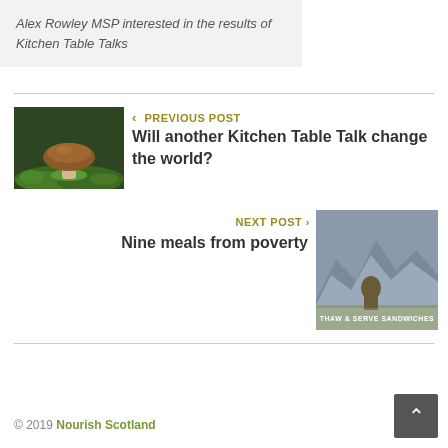Alex Rowley MSP interested in the results of Kitchen Table Talks
[Figure (photo): A mushroom growing in green moss, thumbnail for previous post]
< PREVIOUS POST
Will another Kitchen Table Talk change the world?
NEXT POST >
Nine meals from poverty
[Figure (photo): Soldier in field with military sandwich product advertisement overlaid reading THAW & SERVE SANDWICHES]
© 2019 Nourish Scotland